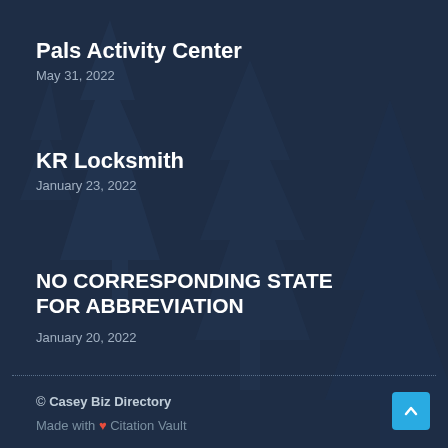Pals Activity Center
May 31, 2022
KR Locksmith
January 23, 2022
NO CORRESPONDING STATE FOR ABBREVIATION
January 20, 2022
© Casey Biz Directory
Made with ❤ Citation Vault